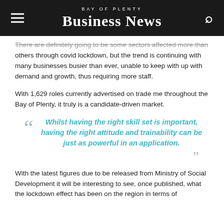Bay of Plenty Business News
There are definitely going to be some sectors affected more than others through covid lockdown, but the trend is continuing with many businesses busier than ever, unable to keep with up with demand and growth, thus requiring more staff.
With 1,629 roles currently advertised on trade me throughout the Bay of Plenty, it truly is a candidate-driven market.
Whilst having the right skill set is important, having the right attitude and trainability can be just as powerful in an application.
With the latest figures due to be released from Ministry of Social Development it will be interesting to see, once published, what the lockdown effect has been on the region in terms of